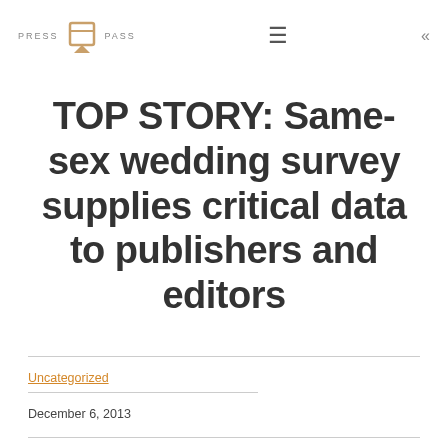PRESS PASS
TOP STORY: Same-sex wedding survey supplies critical data to publishers and editors
Uncategorized
December 6, 2013